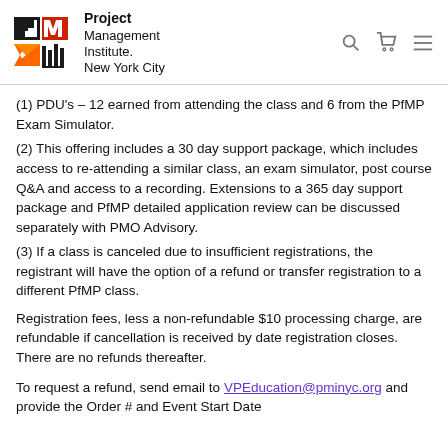Project Management Institute. New York City
(1) PDU's – 12 earned from attending the class and 6 from the PfMP Exam Simulator.
(2) This offering includes a 30 day support package, which includes access to re-attending a similar class, an exam simulator, post course Q&A and access to a recording. Extensions to a 365 day support package and PfMP detailed application review can be discussed separately with PMO Advisory.
(3) If a class is canceled due to insufficient registrations, the registrant will have the option of a refund or transfer registration to a different PfMP class.
Registration fees, less a non-refundable $10 processing charge, are refundable if cancellation is received by date registration closes. There are no refunds thereafter.
To request a refund, send email to VPEducation@pminyc.org and provide the Order # and Event Start Date